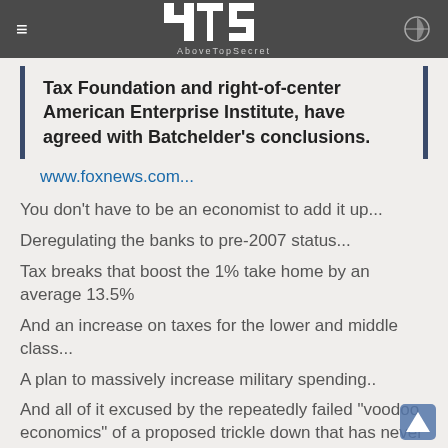AboveTopSecret
Tax Foundation and right-of-center American Enterprise Institute, have agreed with Batchelder's conclusions.
www.foxnews.com...
You don't have to be an economist to add it up...
Deregulating the banks to pre-2007 status...
Tax breaks that boost the 1% take home by an average 13.5%
And an increase on taxes for the lower and middle class...
A plan to massively increase military spending..
And all of it excused by the repeatedly failed "voodoo economics" of a proposed trickle down that has never happened despite being tried multiple times over hundreds of years?